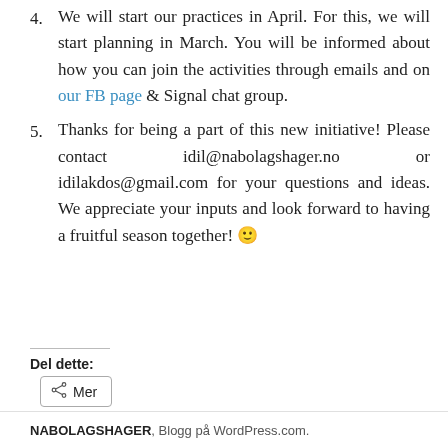4. We will start our practices in April. For this, we will start planning in March. You will be informed about how you can join the activities through emails and on our FB page & Signal chat group.
5. Thanks for being a part of this new initiative! Please contact idil@nabolagshager.no or idilakdos@gmail.com for your questions and ideas. We appreciate your inputs and look forward to having a fruitful season together! 🙂
Del dette:
Mer
NABOLAGSHAGER, Blogg på WordPress.com.